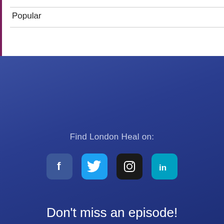Popular
Find London Heal on:
[Figure (infographic): Four social media icons: Facebook (blue rounded square with f), Twitter (light blue rounded square with bird), Instagram (dark rounded square with camera), LinkedIn (teal rounded square with in)]
Don't miss an episode!
Become a London Heal Insider and receive EXCLUSIVE access to extended show notes
Subscribe